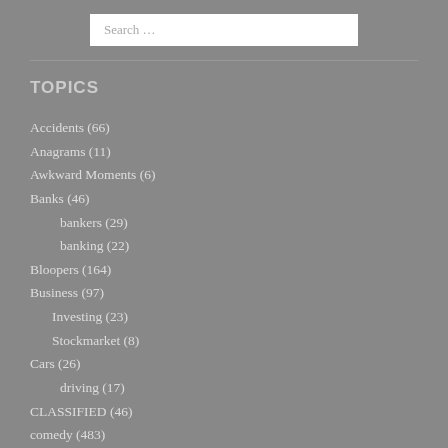Search ...
TOPICS
Accidents (66)
Anagrams (11)
Awkward Moments (6)
Banks (46)
bankers (29)
banking (22)
Bloopers (164)
Business (97)
Investing (23)
Stockmarket (8)
Cars (26)
driving (17)
CLASSIFIED (46)
comedy (483)
Computers (47)
Crime (53)